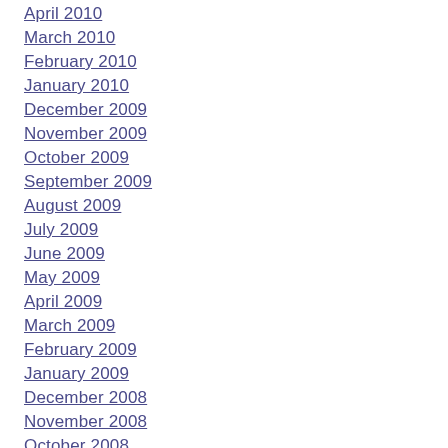April 2010
March 2010
February 2010
January 2010
December 2009
November 2009
October 2009
September 2009
August 2009
July 2009
June 2009
May 2009
April 2009
March 2009
February 2009
January 2009
December 2008
November 2008
October 2008